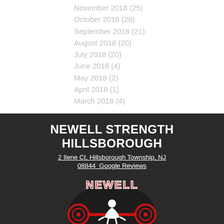November 2018 (25)
October 2018 (28)
September 2018 (21)
August 2018 (20)
July 2018 (20)
June 2018 (4)
May 2018 (2)
April 2018 (1)
March 2018 (4)
NEWELL STRENGTH HILLSBOROUGH
2 Ilene Ct, Hillsborough Township, NJ 08844  Google Reviews
[Figure (logo): Newell Strength logo featuring a weightlifter squatting with a barbell, with 'NEWELL' text on top and 'STRENGTH' text on bottom in red with white outlines, dark splash background]